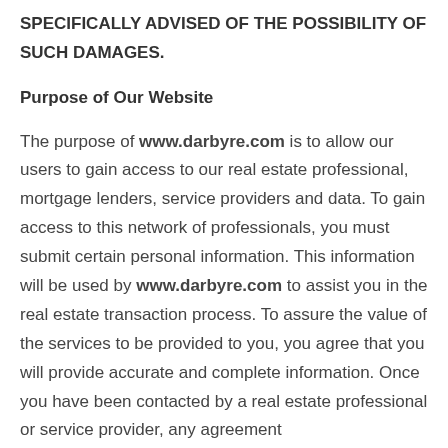SPECIFICALLY ADVISED OF THE POSSIBILITY OF SUCH DAMAGES.
Purpose of Our Website
The purpose of www.darbyre.com is to allow our users to gain access to our real estate professional, mortgage lenders, service providers and data. To gain access to this network of professionals, you must submit certain personal information. This information will be used by www.darbyre.com to assist you in the real estate transaction process. To assure the value of the services to be provided to you, you agree that you will provide accurate and complete information. Once you have been contacted by a real estate professional or service provider, any agreement